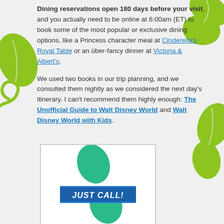Dining reservations open 180 days before your visit, and you actually need to be online at 6:00am (ET) to book some of the most popular or exclusive dining options, like a Princess character meal at Cinderella's Royal Table or an über-fancy dinner at Victoria & Albert's.
We used two books in our trip planning, and we consulted them nightly as we considered the next day's itinerary. I can't recommend them highly enough: The Unofficial Guide to Walt Disney World and Walt Disney World with Kids.
[Figure (illustration): A phone/call graphic with a green handset shape and a blue banner reading 'JUST CALL!' in bold italic white text, inside a white bordered box.]